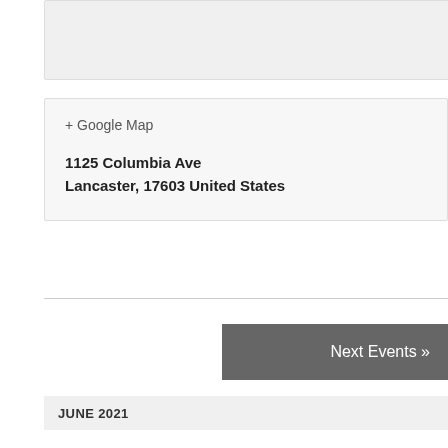[Figure (other): Gray placeholder box at top of page]
+ Google Map
1125 Columbia Ave
Lancaster, 17603 United States
Next Events »
JUNE 2021
Zoom District 63 Business Meeting 6:15PM